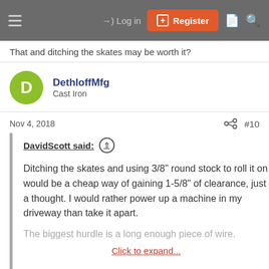Log in | Register
That and ditching the skates may be worth it?
DethloffMfg
Cast Iron
Nov 4, 2018  #10
DavidScott said:
Ditching the skates and using 3/8" round stock to roll it on would be a cheap way of gaining 1-5/8" of clearance, just a thought. I would rather power up a machine in my driveway than take it apart.
The biggest hurdle is a long enough piece of wire.
Click to expand...